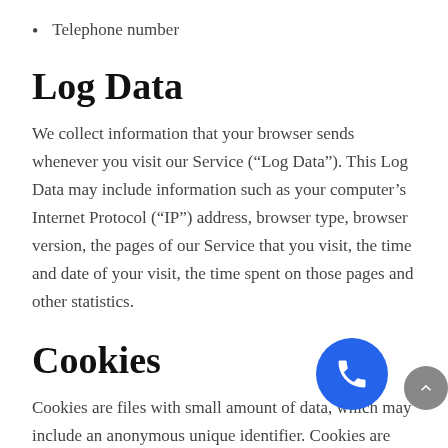Telephone number
Log Data
We collect information that your browser sends whenever you visit our Service (“Log Data”). This Log Data may include information such as your computer’s Internet Protocol (“IP”) address, browser type, browser version, the pages of our Service that you visit, the time and date of your visit, the time spent on those pages and other statistics.
Cookies
Cookies are files with small amount of data, which may include an anonymous unique identifier. Cookies are sent to browser from a web site and stored on your computer’s hard drive.